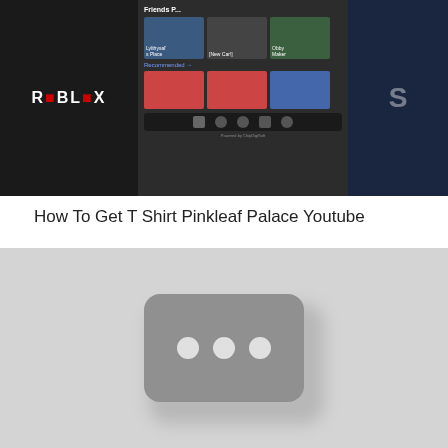[Figure (screenshot): Screenshot of a Roblox mobile app interface showing game tiles including 'Lylthysal's Place', '[New Car!]', 'Obby Maker', with a 'Recommended' section and navigation bar. Left side shows the Roblox logo on a dark background, right side shows a character in a colorful game.]
How To Get T Shirt Pinkleaf Palace Youtube
[Figure (other): A blurred YouTube video placeholder/thumbnail showing a grey rounded rectangle with three dots icon in the center on a light grey background, indicating a video that is loading or unavailable.]